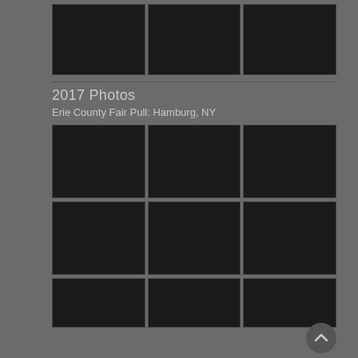[Figure (photo): Row of 3 dark photo thumbnails at top]
2017 Photos
Erie County Fair Pull: Hamburg, NY
[Figure (photo): Row of 3 dark photo thumbnails - first set]
[Figure (photo): Row of 3 dark photo thumbnails - second set]
[Figure (photo): Row of 3 dark photo thumbnails - partial bottom row]